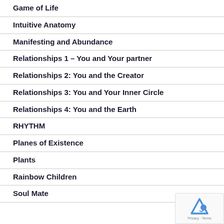Game of Life
Intuitive Anatomy
Manifesting and Abundance
Relationships 1 – You and Your partner
Relationships 2: You and the Creator
Relationships 3: You and Your Inner Circle
Relationships 4: You and the Earth
RHYTHM
Planes of Existence
Plants
Rainbow Children
Soul Mate